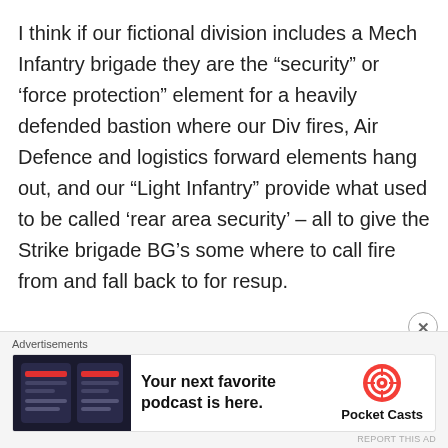I think if our fictional division includes a Mech Infantry brigade they are the “security” or ‘force protection” element for a heavily defended bastion where our Div fires, Air Defence and logistics forward elements hang out, and our “Light Infantry” provide what used to be called ‘rear area security’ – all to give the Strike brigade BG’s some where to call fire from and fall back to for resup.
To be clear the RUSI paper suggested the tubes would be back in the protected area, I
[Figure (infographic): Advertisement banner for Pocket Casts podcast app. Shows app screenshot on left with dark background, bold text 'Your next favorite podcast is here.' in center, and Pocket Casts logo with name on right.]